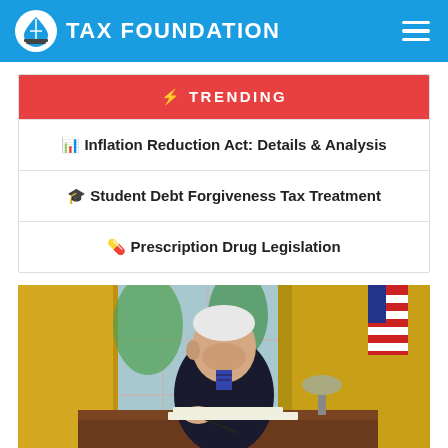TAX FOUNDATION
⚡ TRENDING
📊 Inflation Reduction Act: Details & Analysis
🎓 Student Debt Forgiveness Tax Treatment
💊 Prescription Drug Legislation
[Figure (photo): Photo of President Biden signing legislation at a desk in the Oval Office, with yellow curtains and an American flag visible in the background.]